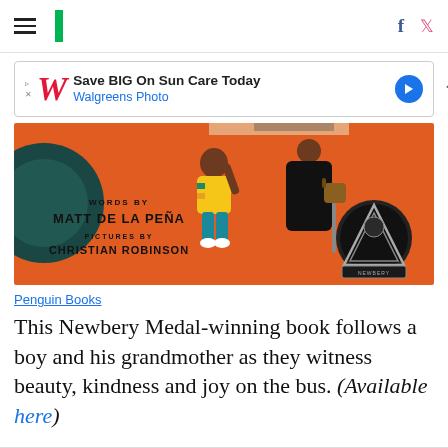HuffPost navigation with hamburger menu, logo, Facebook and Twitter icons
[Figure (infographic): Walgreens advertisement banner: Save BIG On Sun Care Today - Walgreens Photo]
[Figure (illustration): Book cover of a children's book with orange background, showing a boy in yellow shirt reaching up toward an adult figure, with text 'WORDS BY MATT DE LA PEÑA' and 'PICTURES BY CHRISTIAN ROBINSON', and a Newbery Medal medallion on the right side]
Penguin Books
This Newbery Medal-winning book follows a boy and his grandmother as they witness beauty, kindness and joy on the bus. (Available here)